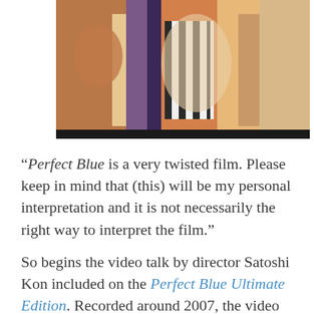[Figure (illustration): Anime-style illustration from Perfect Blue showing colorful characters with bold patterns including stripes and warm tones, with a dark border at the bottom.]
“Perfect Blue is a very twisted film. Please keep in mind that (this) will be my personal interpretation and it is not necessarily the right way to interpret the film.”
So begins the video talk by director Satoshi Kon included on the Perfect Blue Ultimate Edition. Recorded around 2007, the video shows Kon looking back a decade to his directorial debut, giving his